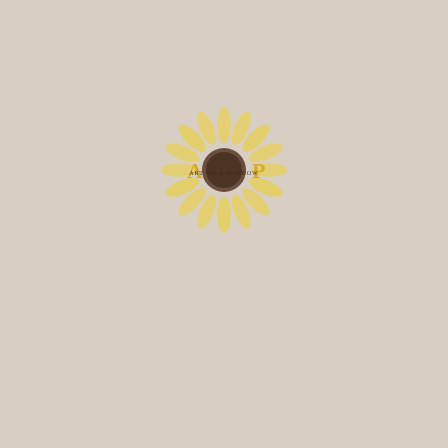[Figure (logo): A stylized sunflower logo with text overlaid reading 'ART ON A WINDOW' in small letters across the center, with large decorative letters 'A' on the left and 'P' on the right in golden/yellow color. The sunflower has yellow petals and a dark brown center.]